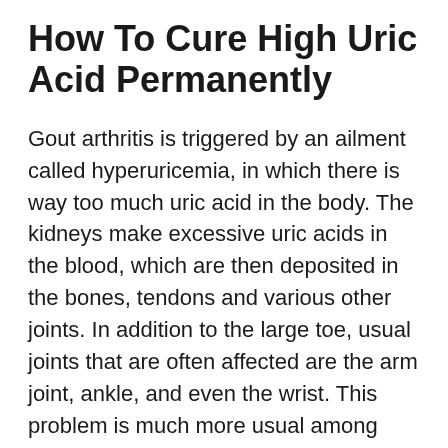How To Cure High Uric Acid Permanently
Gout arthritis is triggered by an ailment called hyperuricemia, in which there is way too much uric acid in the body. The kidneys make excessive uric acids in the blood, which are then deposited in the bones, tendons and various other joints. In addition to the large toe, usual joints that are often affected are the arm joint, ankle, and even the wrist. This problem is much more usual among males than women, however it can happen at any kind of age. The primary risk factors for gout arthritis are weight problems, alcoholic abuse, smoking, hypertension, inadequate diet regimen and also eating routines as well as a family